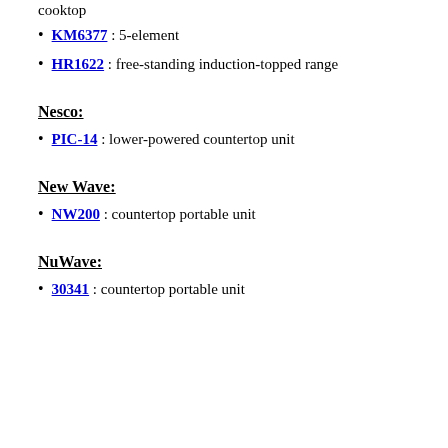cooktop
KM6377 : 5-element
HR1622 : free-standing induction-topped range
Nesco:
PIC-14 : lower-powered countertop unit
New Wave:
NW200 : countertop portable unit
NuWave:
30341 : countertop portable unit